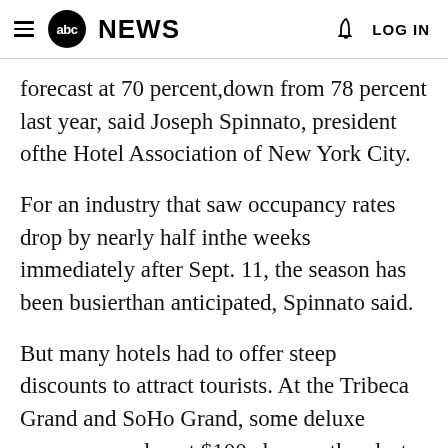abc NEWS  LOG IN
forecast at 70 percent,down from 78 percent last year, said Joseph Spinnato, president ofthe Hotel Association of New York City.
For an industry that saw occupancy rates drop by nearly half inthe weeks immediately after Sept. 11, the season has been busierthan anticipated, Spinnato said.
But many hotels had to offer steep discounts to attract tourists. At the Tribeca Grand and SoHo Grand, some deluxe rooms were almost $100 cheaper than last year.
A month after the attacks, Nicholas told